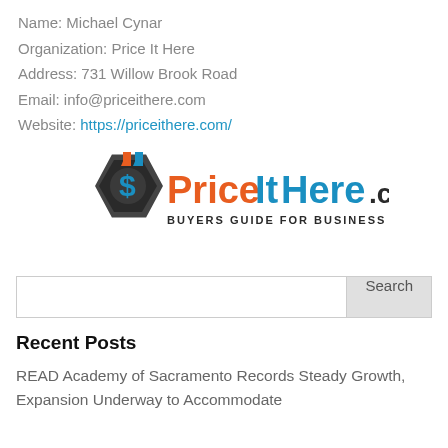Name: Michael Cynar
Organization: Price It Here
Address: 731 Willow Brook Road
Email: info@priceithere.com
Website: https://priceithere.com/
[Figure (logo): PriceItHere.com logo with hexagon dollar sign icon and 'BUYERS GUIDE FOR BUSINESS' tagline]
Search
Recent Posts
READ Academy of Sacramento Records Steady Growth, Expansion Underway to Accommodate